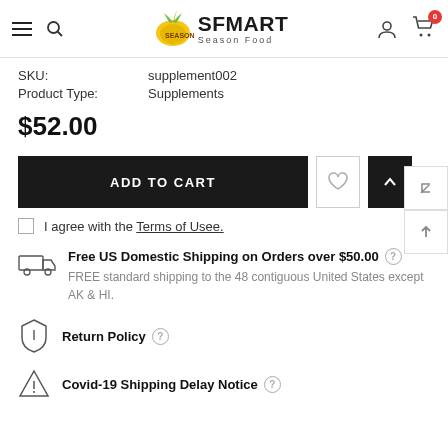Season SFMart Season Food — navigation header with hamburger, search, logo, user, and cart (0 items)
SKU: supplement002
Product Type: Supplements
$52.00
ADD TO CART
I agree with the Terms of Usee.
Free US Domestic Shipping on Orders over $50.00
FREE standard shipping to the 48 contiguous United States except AK & HI.
Return Policy
Covid-19 Shipping Delay Notice